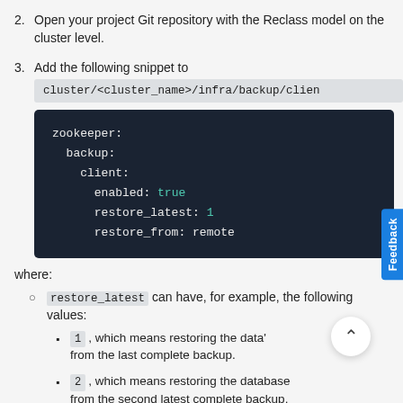2. Open your project Git repository with the Reclass model on the cluster level.
3. Add the following snippet to cluster/<cluster_name>/infra/backup/clien
[Figure (screenshot): Code block on dark background showing YAML snippet: zookeeper: backup: client: enabled: true restore_latest: 1 restore_from: remote]
where:
restore_latest can have, for example, the following values:
1 , which means restoring the data' from the last complete backup.
2 , which means restoring the database from the second latest complete backup.